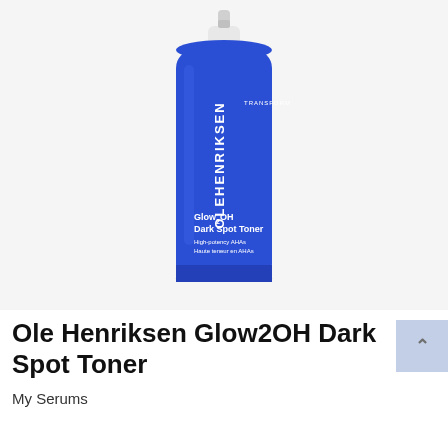[Figure (photo): Blue cylindrical bottle of Ole Henriksen Glow2OH Dark Spot Toner with white pump cap. Label reads OLEHENRIKSEN TRANSFORM Glow2OH Dark Spot Toner High-potency AHAs / Haute teneur en AHAs]
Ole Henriksen Glow2OH Dark Spot Toner
My Serums